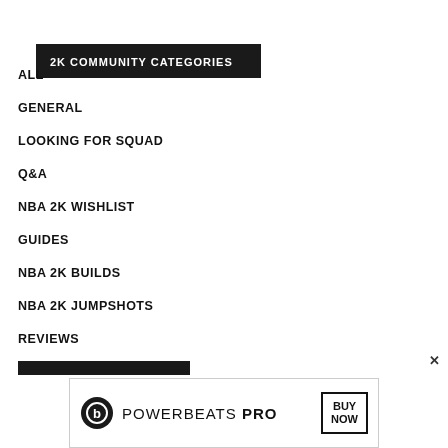2K COMMUNITY CATEGORIES
ALL
GENERAL
LOOKING FOR SQUAD
Q&A
NBA 2K WISHLIST
GUIDES
NBA 2K BUILDS
NBA 2K JUMPSHOTS
REVIEWS
[Figure (other): Powerbeats Pro advertisement banner with beats logo, text POWERBEATS PRO, and BUY NOW button]